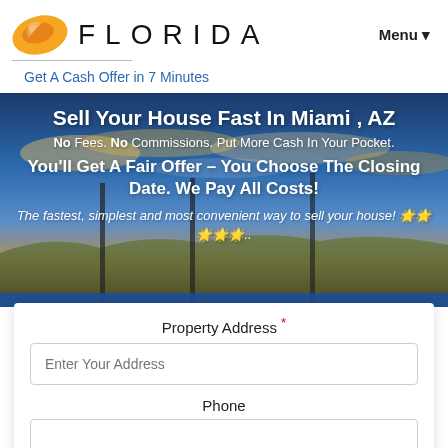FLORIDA  Menu ▼
Get A Cash Offer in 7 Minutes
Sell Your House Fast In Miami , AZ
No Fees. No Commissions. Put More Cash In Your Pocket.
You'll Get A Fair Offer – You Choose The Closing Date. We Pay All Costs!
The fastest, simplest and most convenient way to sell your house! 🌟🌟🌟🌟🌟..
Property Address *
Enter Your Address
Phone